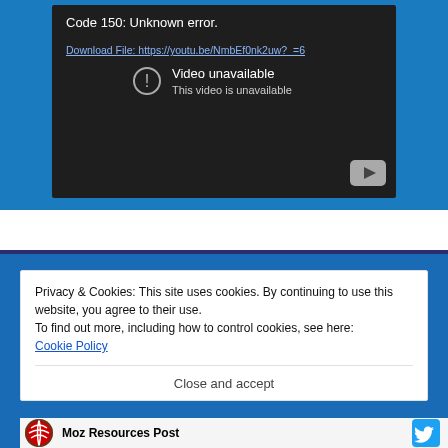[Figure (screenshot): YouTube video player showing an error: 'Code 150: Unknown error.' with a download link 'Download File: https://youtu.be/NmbEf0nk2uw?_=6' and a 'Video unavailable / This video is unavailable' message, with a YouTube logo button at bottom right. The player has a dark background and is embedded in a blue webpage section.]
Privacy & Cookies: This site uses cookies. By continuing to use this website, you agree to their use.
To find out more, including how to control cookies, see here:
Cookie Policy
Close and accept
Moz Resources Post